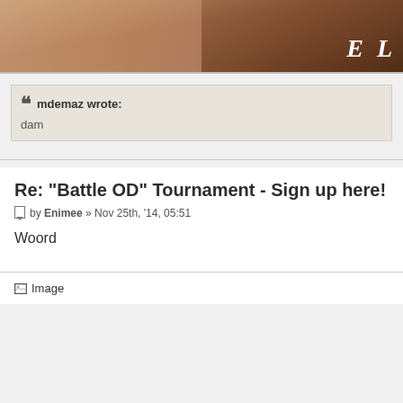[Figure (photo): Cropped photo of a woman's face with brown hair, smiling. EL logo watermark visible in bottom right corner.]
mdemaz wrote:
dam
Re: "Battle OD" Tournament - Sign up here!
by Enimee » Nov 25th, '14, 05:51
Woord
[Figure (photo): Broken image placeholder labeled 'Image']